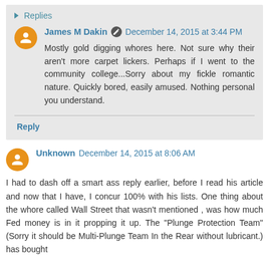▸ Replies
James M Dakin  December 14, 2015 at 3:44 PM
Mostly gold digging whores here. Not sure why their aren't more carpet lickers. Perhaps if I went to the community college...Sorry about my fickle romantic nature. Quickly bored, easily amused. Nothing personal you understand.
Reply
Unknown  December 14, 2015 at 8:06 AM
I had to dash off a smart ass reply earlier, before I read his article and now that I have, I concur 100% with his lists. One thing about the whore called Wall Street that wasn't mentioned , was how much Fed money is in it propping it up. The "Plunge Protection Team" (Sorry it should be Multi-Plunge Team In the Rear without lubricant.) has bought